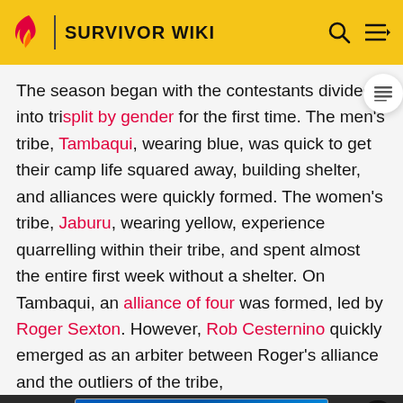SURVIVOR WIKI
The season began with the contestants divided into tribes split by gender for the first time. The men's tribe, Tambaqui, wearing blue, was quick to get their camp life squared away, building shelter, and alliances were quickly formed. The women's tribe, Jaburu, wearing yellow, experience quarrelling within their tribe, and spent almost the entire first week without a shelter. On Tambaqui, an alliance of four was formed, led by Roger Sexton. However, Rob Cesternino quickly emerged as an arbiter between Roger's alliance and the outliers of the tribe, solidifying allegiances with both. On Jaburu, the young women
[Figure (screenshot): Best Buy advertisement banner with blue gradient background and yellow Best Buy logo text]
On Day 13, Dave Johnson and Jenna Morasca traveled to